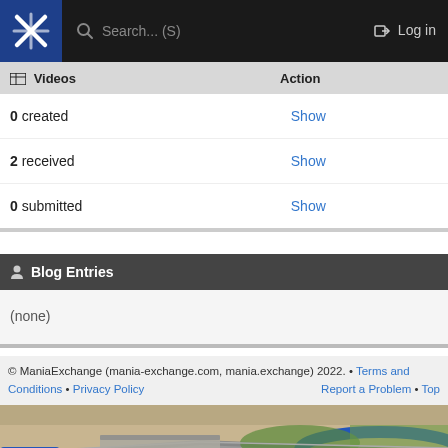Search... (S)  Log in
Videos | Action
| Videos | Action |
| --- | --- |
| 0 created | Show |
| 2 received | Show |
| 0 submitted | Show |
Blog Entries
(none)
© ManiaExchange (mania-exchange.com, mania.exchange) 2022. • Terms and Conditions • Privacy Policy  Report a Problem • Top
[Figure (screenshot): Racing track aerial view with blue barriers, checkpoint marking, desert landscape]